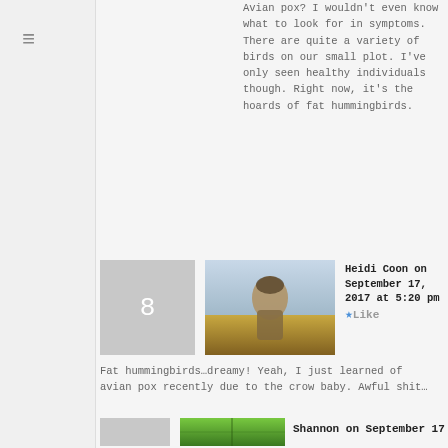Avian pox? I wouldn't even know what to look for in symptoms. There are quite a variety of birds on our small plot. I've only seen healthy individuals though. Right now, it's the hoards of fat hummingbirds.
Heidi Coon on September 17, 2017 at 5:20 pm Like
Fat hummingbirds…dreamy! Yeah, I just learned of avian pox recently due to the crow baby. Awful shit…
Shannon on September 17